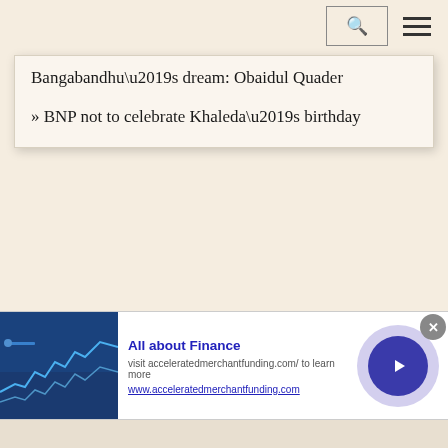Navigation bar with search and menu icons
Bangabandhu’s dream: Obaidul Quader
» BNP not to celebrate Khaleda’s birthday
[Figure (screenshot): Advertisement banner for 'All about Finance' — acceleratedmerchantfunding.com — with stock chart image, title in blue, description text, and circular arrow button]